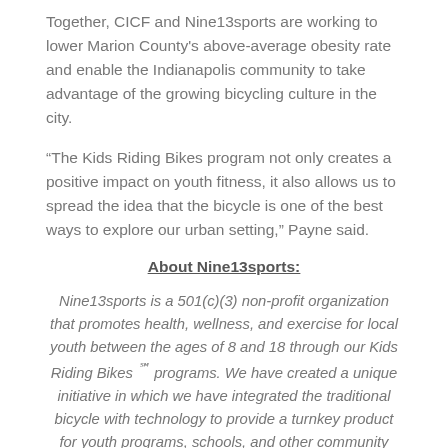Together, CICF and Nine13sports are working to lower Marion County's above-average obesity rate and enable the Indianapolis community to take advantage of the growing bicycling culture in the city.
“The Kids Riding Bikes program not only creates a positive impact on youth fitness, it also allows us to spread the idea that the bicycle is one of the best ways to explore our urban setting,” Payne said.
About Nine13sports:
Nine13sports is a 501(c)(3) non-profit organization that promotes health, wellness, and exercise for local youth between the ages of 8 and 18 through our Kids Riding Bikes ℠ programs. We have created a unique initiative in which we have integrated the traditional bicycle with technology to provide a turnkey product for youth programs, schools, and other community organizations.